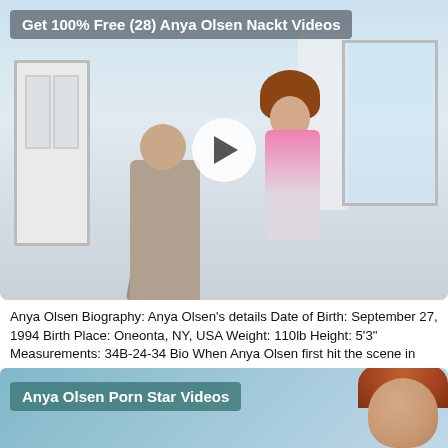Get 100% Free (28) Anya Olsen Nackt Videos
[Figure (photo): Video thumbnail showing two people in an indoor room setting with a play button overlay]
Anya Olsen Biography: Anya Olsen's details Date of Birth: September 27, 1994 Birth Place: Oneonta, NY, USA Weight: 110lb Height: 5'3" Measurements: 34B-24-34 Bio When Anya Olsen first hit the scene in 2015, industry bigwigs and porn aficionados went wild for her ethereal face and near mythical allure.
Anya Olsen Porn Star Videos
[Figure (photo): Second video thumbnail showing a woman with red hair, partially visible, with teal/blue background]